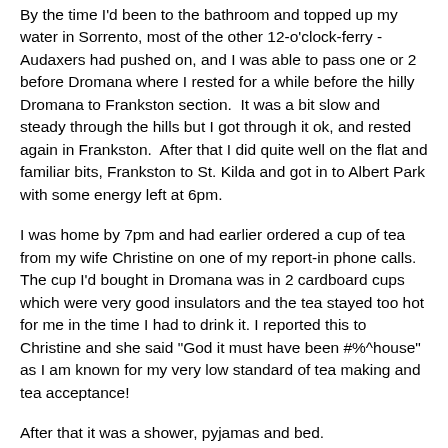By the time I'd been to the bathroom and topped up my water in Sorrento, most of the other 12-o'clock-ferry - Audaxers had pushed on, and I was able to pass one or 2 before Dromana where I rested for a while before the hilly Dromana to Frankston section.  It was a bit slow and steady through the hills but I got through it ok, and rested again in Frankston.  After that I did quite well on the flat and familiar bits, Frankston to St. Kilda and got in to Albert Park with some energy left at 6pm.
I was home by 7pm and had earlier ordered a cup of tea from my wife Christine on one of my report-in phone calls. The cup I'd bought in Dromana was in 2 cardboard cups which were very good insulators and the tea stayed too hot for me in the time I had to drink it. I reported this to Christine and she said "God it must have been #%^house" as I am known for my very low standard of tea making and tea acceptance!
After that it was a shower, pyjamas and bed.
Overall, I think I did well for the amount of training I did.  I'll stalk the Audax calendar a bit to see what my next ride will